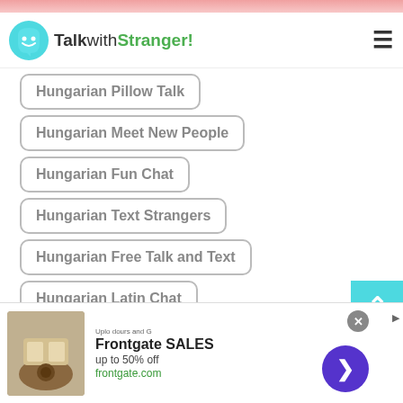TalkwithStranger!
Hungarian Pillow Talk
Hungarian Meet New People
Hungarian Fun Chat
Hungarian Text Strangers
Hungarian Free Talk and Text
Hungarian Latin Chat
Hungarian Talk to Someone
Hungarian Boys Chat
[Figure (screenshot): Advertisement for Frontgate SALES, up to 50% off, frontgate.com, with outdoor furniture image]